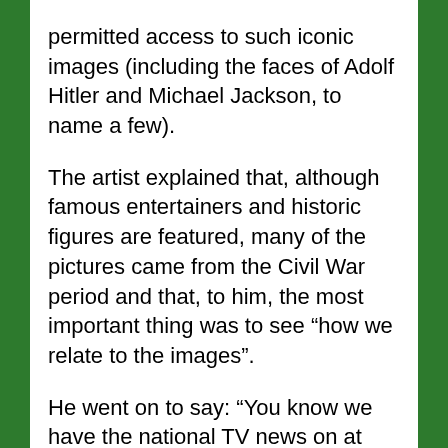permitted access to such iconic images (including the faces of Adolf Hitler and Michael Jackson, to name a few). The artist explained that, although famous entertainers and historic figures are featured, many of the pictures came from the Civil War period and that, to him, the most important thing was to see “how we relate to the images”. He went on to say: “You know we have the national TV news on at eating time, and the idea of people eating at the same time as watching all these horrible images is something that didn´t feel good to me. I wanted to work with this concept, that you can have something very normal Andalucian (the farolillas), combined with all these memories, all collective memories, all on top of us”. As we were talking to Carlos, the lights cut out. It